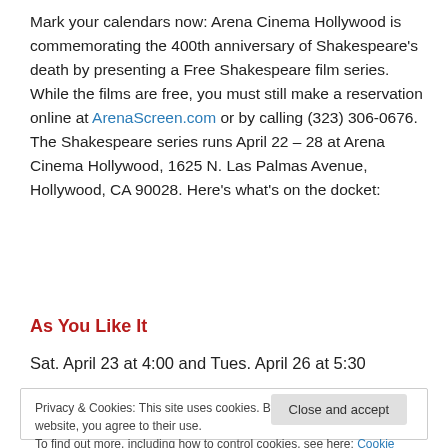Mark your calendars now: Arena Cinema Hollywood is commemorating the 400th anniversary of Shakespeare's death by presenting a Free Shakespeare film series. While the films are free, you must still make a reservation online at ArenaScreen.com or by calling (323) 306-0676. The Shakespeare series runs April 22 – 28 at Arena Cinema Hollywood, 1625 N. Las Palmas Avenue, Hollywood, CA 90028. Here's what's on the docket:
As You Like It
Sat. April 23 at 4:00 and Tues. April 26 at 5:30
Privacy & Cookies: This site uses cookies. By continuing to use this website, you agree to their use. To find out more, including how to control cookies, see here: Cookie Policy
Close and accept